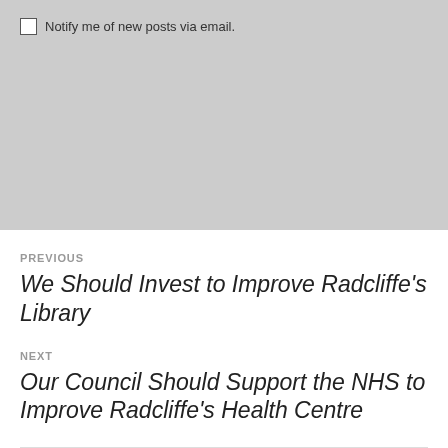Notify me of new posts via email.
PREVIOUS
We Should Invest to Improve Radcliffe's Library
NEXT
Our Council Should Support the NHS to Improve Radcliffe's Health Centre
FOLLOW MY BLOG